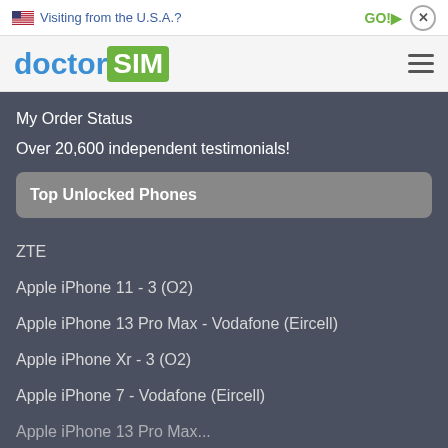Visiting from the U.S.A?   GO!>   x
[Figure (logo): doctorSIM logo with hamburger menu icon]
My Order Status
Over 20,600 independent testimonials!
Top Unlocked Phones
ZTE
Apple iPhone 11 - 3 (O2)
Apple iPhone 13 Pro Max - Vodafone (Eircell)
Apple iPhone Xr - 3 (O2)
Apple iPhone 7 - Vodafone (Eircell)
Apple iPhone 13 Pro Max...